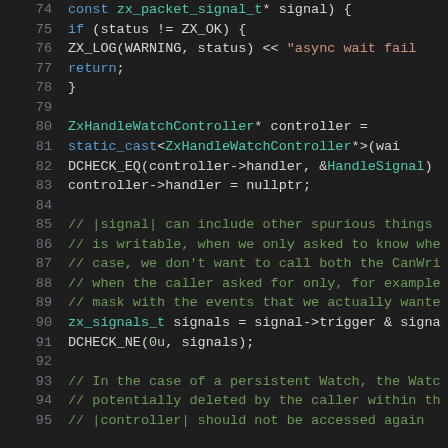[Figure (screenshot): Source code listing in dark theme editor showing lines 74-95 of C++ code involving ZxHandleWatchController, signal handling, DCHECK_EQ, DCHECK_NE, and related comments.]